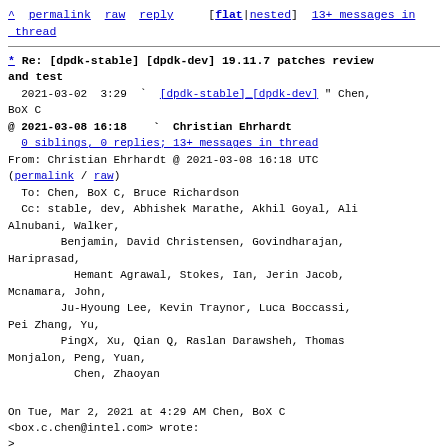^ permalink raw reply [flat|nested] 13+ messages in thread
* Re: [dpdk-stable] [dpdk-dev] 19.11.7 patches review and test
2021-03-02 3:29 [dpdk-stable] [dpdk-dev] " Chen, BoX C
@ 2021-03-08 16:18 Christian Ehrhardt
0 siblings, 0 replies; 13+ messages in thread
From: Christian Ehrhardt @ 2021-03-08 16:18 UTC
(permalink / raw)
To: Chen, BoX C, Bruce Richardson
Cc: stable, dev, Abhishek Marathe, Akhil Goyal, Ali Alnubani, Walker, Benjamin, David Christensen, Govindharajan, Hariprasad, Hemant Agrawal, Stokes, Ian, Jerin Jacob, Mcnamara, John, Ju-Hyoung Lee, Kevin Traynor, Luca Boccassi, Pei Zhang, Yu, PingX, Xu, Qian Q, Raslan Darawsheh, Thomas Monjalon, Peng, Yuan, Chen, Zhaoyan
On Tue, Mar 2, 2021 at 4:29 AM Chen, BoX C
<box.c.chen@intel.com> wrote:
>
> Hi Ehrhardt,